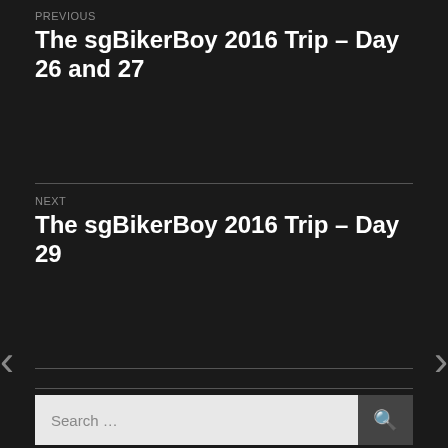PREVIOUS
The sgBikerBoy 2016 Trip – Day 26 and 27
NEXT
The sgBikerBoy 2016 Trip – Day 29
Search …